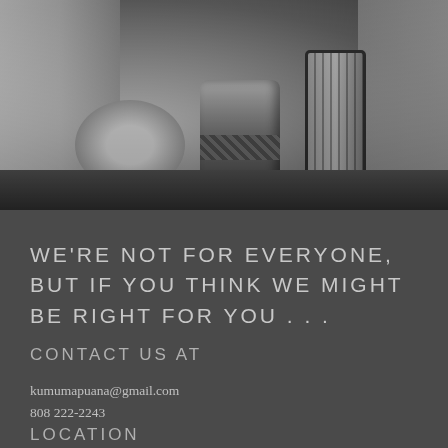[Figure (photo): Black and white photograph of people playing African drums (djembes), showing hands, fabric clothing, and drum surfaces in close-up view]
WE'RE NOT FOR EVERYONE, BUT IF YOU THINK WE MIGHT BE RIGHT FOR YOU . . .
CONTACT US AT
kumumapuana@gmail.com
808 222-2243
LOCATION